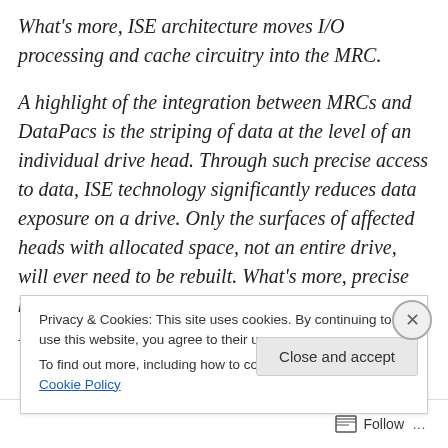What's more, ISE architecture moves I/O processing and cache circuitry into the MRC.
A highlight of the integration between MRCs and DataPacs is the striping of data at the level of an individual drive head. Through such precise access to data, ISE technology significantly reduces data exposure on a drive. Only the surfaces of affected heads with allocated space, not an entire drive, will ever need to be rebuilt. What's more, precise knowledge about underlying components allows an ISE to reduce the rate at which DataPac
Privacy & Cookies: This site uses cookies. By continuing to use this website, you agree to their use.
To find out more, including how to control cookies, see here: Cookie Policy
Close and accept
Follow